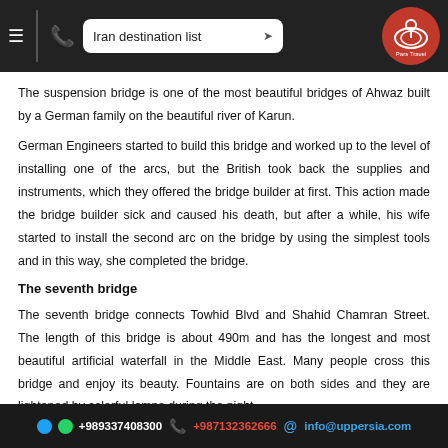Iran destination list — navigation bar with hamburger menu, phone icon, dropdown, and Pars Travel logo
The suspension bridge is one of the most beautiful bridges of Ahwaz built by a German family on the beautiful river of Karun.
German Engineers started to build this bridge and worked up to the level of installing one of the arcs, but the British took back the supplies and instruments, which they offered the bridge builder at first. This action made the bridge builder sick and caused his death, but after a while, his wife started to install the second arc on the bridge by using the simplest tools and in this way, she completed the bridge.
The seventh bridge
The seventh bridge connects Towhid Blvd and Shahid Chamran Street. The length of this bridge is about 490m and has the longest and most beautiful artificial waterfall in the Middle East. Many people cross this bridge and enjoy its beauty. Fountains are on both sides and they are lightened by colorful lamps during the night.
+989337408300  +987132362666  info@uppersia.com